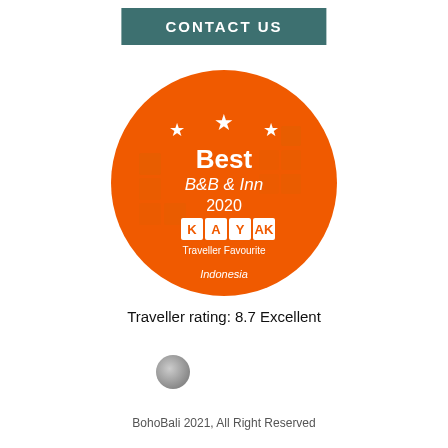CONTACT US
[Figure (logo): KAYAK Traveller Favourite award badge for Best B&B & Inn 2020 in Indonesia, orange circular badge with stars and checkered pattern]
Traveller rating: 8.7 Excellent
[Figure (logo): Small circular grey logo icon]
BohoBali 2021, All Right Reserved